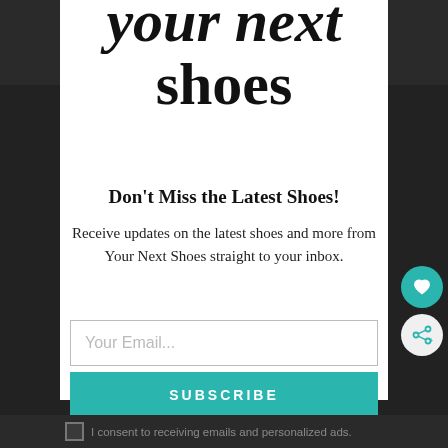your next shoes
Don't Miss the Latest Shoes!
Receive updates on the latest shoes and more from Your Next Shoes straight to your inbox.
Your Email...
SUBSCRIBE
I consent to receiving emails and personalized ads.